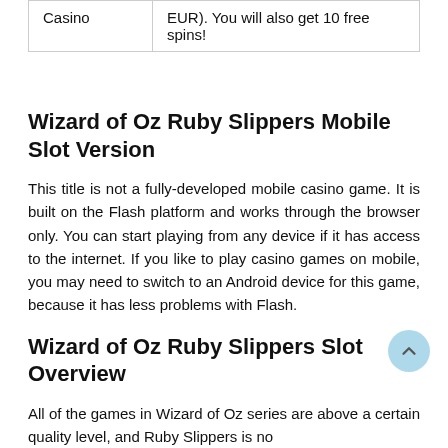| Casino | EUR). You will also get 10 free spins! |
Wizard of Oz Ruby Slippers Mobile Slot Version
This title is not a fully-developed mobile casino game. It is built on the Flash platform and works through the browser only. You can start playing from any device if it has access to the internet. If you like to play casino games on mobile, you may need to switch to an Android device for this game, because it has less problems with Flash.
Wizard of Oz Ruby Slippers Slot Overview
All of the games in Wizard of Oz series are above a certain quality level, and Ruby Slippers is no